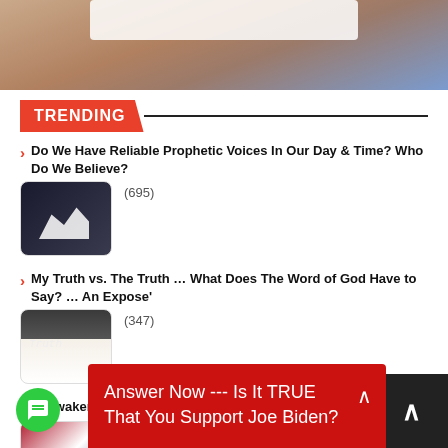[Figure (photo): Partial top image of a person, cropped at top of page]
TRENDING
Do We Have Reliable Prophetic Voices In Our Day & Time? Who Do We Believe? (695)
My Truth vs. The Truth … What Does The Word of God Have to Say? … An Expose' (347)
Reawaken America Tour – The Great Awakening vs. T…
Answer Now --- Is It TRUE That You Support Joe Biden?